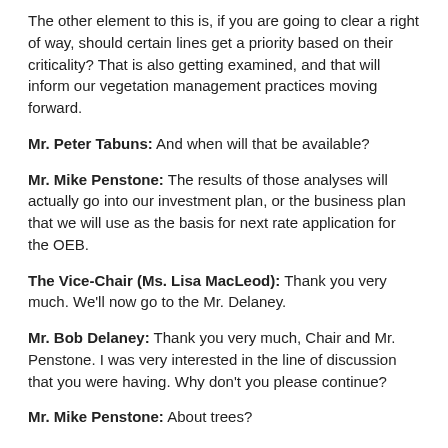The other element to this is, if you are going to clear a right of way, should certain lines get a priority based on their criticality? That is also getting examined, and that will inform our vegetation management practices moving forward.
Mr. Peter Tabuns: And when will that be available?
Mr. Mike Penstone: The results of those analyses will actually go into our investment plan, or the business plan that we will use as the basis for next rate application for the OEB.
The Vice-Chair (Ms. Lisa MacLeod): Thank you very much. We'll now go to the Mr. Delaney.
Mr. Bob Delaney: Thank you very much, Chair and Mr. Penstone. I was very interested in the line of discussion that you were having. Why don't you please continue?
Mr. Mike Penstone: About trees?